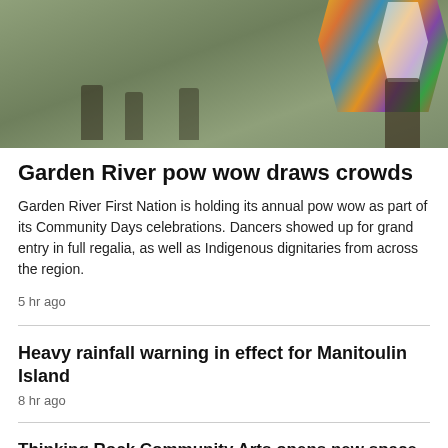[Figure (photo): Outdoor pow wow scene with dancers in colorful regalia on a grass field, with figures visible in background]
Garden River pow wow draws crowds
Garden River First Nation is holding its annual pow wow as part of its Community Days celebrations. Dancers showed up for grand entry in full regalia, as well as Indigenous dignitaries from across the region.
5 hr ago
Heavy rainfall warning in effect for Manitoulin Island
8 hr ago
Thinking Rock Community Arts opens new space
Impaired driver refused breath sample: police say